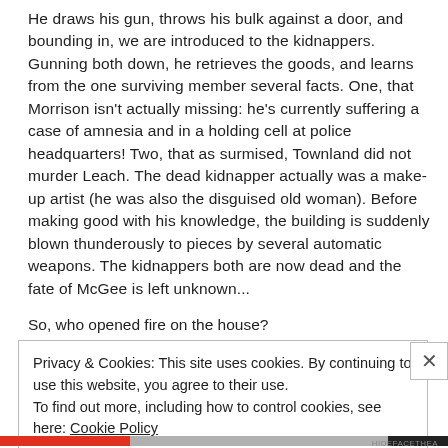He draws his gun, throws his bulk against a door, and bounding in, we are introduced to the kidnappers. Gunning both down, he retrieves the goods, and learns from the one surviving member several facts. One, that Morrison isn't actually missing: he's currently suffering a case of amnesia and in a holding cell at police headquarters! Two, that as surmised, Townland did not murder Leach. The dead kidnapper actually was a make-up artist (he was also the disguised old woman). Before making good with his knowledge, the building is suddenly blown thunderously to pieces by several automatic weapons. The kidnappers both are now dead and the fate of McGee is left unknown...
So, who opened fire on the house?
Privacy & Cookies: This site uses cookies. By continuing to use this website, you agree to their use.
To find out more, including how to control cookies, see here: Cookie Policy
Close and accept